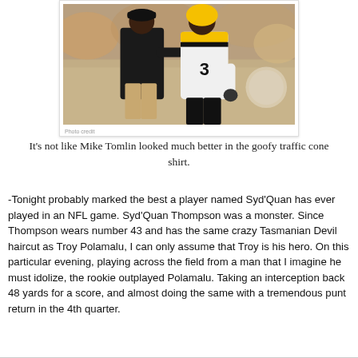[Figure (photo): Two Pittsburgh Steelers figures on a football field sideline — a coach in a black jacket and khaki pants speaking with a player wearing number 3 in a white and yellow uniform, crowd blurred in background]
It's not like Mike Tomlin looked much better in the goofy traffic cone shirt.
-Tonight probably marked the best a player named Syd'Quan has ever played in an NFL game. Syd'Quan Thompson was a monster. Since Thompson wears number 43 and has the same crazy Tasmanian Devil haircut as Troy Polamalu, I can only assume that Troy is his hero. On this particular evening, playing across the field from a man that I imagine he must idolize, the rookie outplayed Polamalu. Taking an interception back 48 yards for a score, and almost doing the same with a tremendous punt return in the 4th quarter.